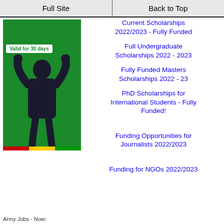Full Site | Back to Top
[Figure (photo): Advertisement banner on green background showing a man celebrating with fists raised, with 'Valid for 30 days' badge and African flag colors at the bottom]
Current Scholarships 2022/2023 - Fully Funded
Full Undergraduate Scholarships 2022 - 2023
Fully Funded Masters Scholarships 2022 - 23
PhD Scholarships for International Students - Fully Funded!
Funding Opportunities for Journalists 2022/2023
Funding for NGOs 2022/2023
Army Jobs - Now: